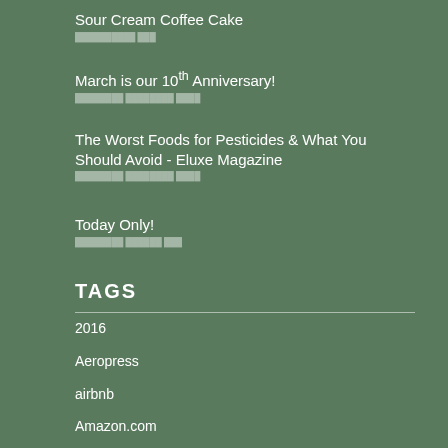Sour Cream Coffee Cake
March is our 10th Anniversary!
The Worst Foods for Pesticides & What You Should Avoid - Eluxe Magazine
Today Only!
TAGS
2016
Aeropress
airbnb
Amazon.com